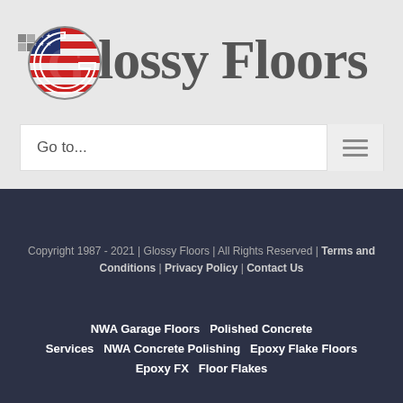[Figure (logo): Glossy Floors logo with American flag styled G letter and grid icon]
Go to...
Copyright 1987 - 2021 | Glossy Floors | All Rights Reserved | Terms and Conditions | Privacy Policy | Contact Us
NWA Garage Floors   Polished Concrete Services   NWA Concrete Polishing   Epoxy Flake Floors   Epoxy FX   Floor Flakes